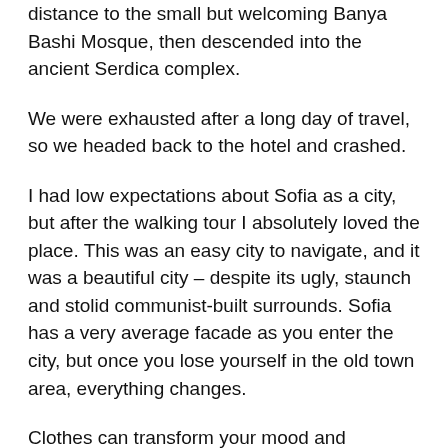distance to the small but welcoming Banya Bashi Mosque, then descended into the ancient Serdica complex.
We were exhausted after a long day of travel, so we headed back to the hotel and crashed.
I had low expectations about Sofia as a city, but after the walking tour I absolutely loved the place. This was an easy city to navigate, and it was a beautiful city – despite its ugly, staunch and stolid communist-built surrounds. Sofia has a very average facade as you enter the city, but once you lose yourself in the old town area, everything changes.
Clothes can transform your mood and confidence. Fashion moves so quickly that, unless you have a strong point of view, you can lose integrity. I like to be real. I don't like things to be staged or fussy. I think I'd go mad if I didn't have a place to escape to. You have to stay true to your heritage